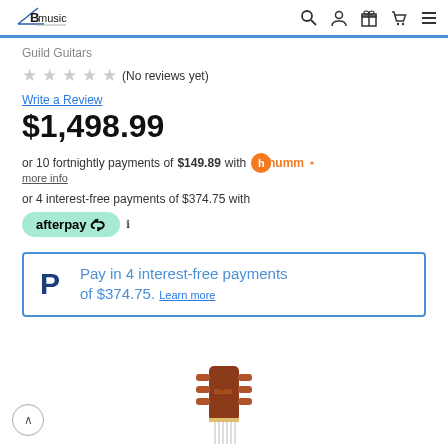Bmusic [navigation icons]
Guild Guitars
☆ ☆ ☆ ☆ ☆ (No reviews yet)
Write a Review
$1,498.99
or 10 fortnightly payments of $149.89 with humm
more info
or 4 interest-free payments of $374.75 with
afterpay
Pay in 4 interest-free payments of $374.75. Learn more
[Figure (photo): Guitar headstock image at bottom of page]